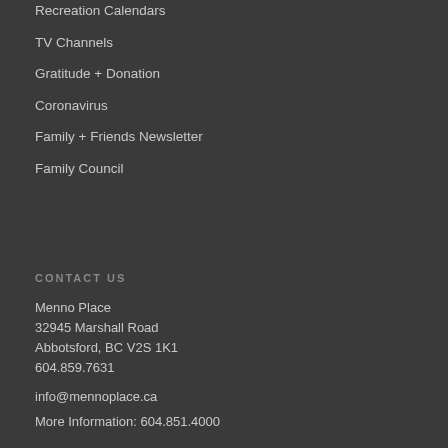Recreation Calendars
TV Channels
Gratitude + Donation
Coronavirus
Family + Friends Newsletter
Family Council
CONTACT US
Menno Place
32945 Marshall Road
Abbotsford, BC V2S 1K1
604.859.7631
info@mennoplace.ca
More Information: 604.851.4000